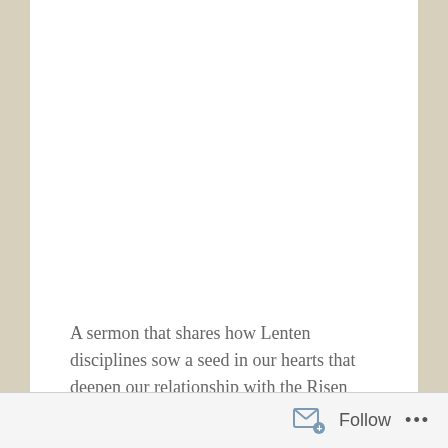A sermon that shares how Lenten disciplines sow a seed in our hearts that deepen our relationship with the Risen Christ as we while caring for the welfare of the world.
Read More
Follow ···